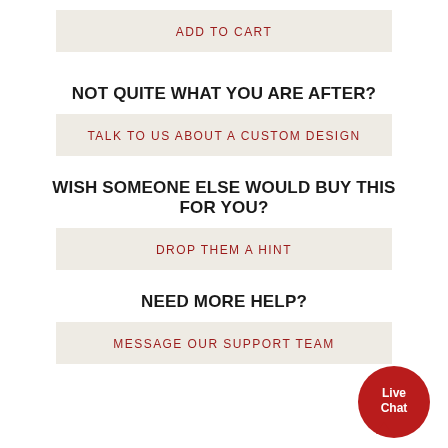ADD TO CART
NOT QUITE WHAT YOU ARE AFTER?
TALK TO US ABOUT A CUSTOM DESIGN
WISH SOMEONE ELSE WOULD BUY THIS FOR YOU?
DROP THEM A HINT
NEED MORE HELP?
MESSAGE OUR SUPPORT TEAM
[Figure (illustration): Red circular Live Chat button with speech bubble icon]